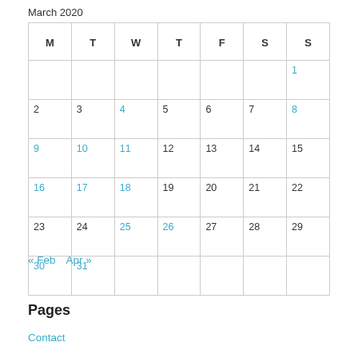March 2020
| M | T | W | T | F | S | S |
| --- | --- | --- | --- | --- | --- | --- |
|  |  |  |  |  |  | 1 |
| 2 | 3 | 4 | 5 | 6 | 7 | 8 |
| 9 | 10 | 11 | 12 | 13 | 14 | 15 |
| 16 | 17 | 18 | 19 | 20 | 21 | 22 |
| 23 | 24 | 25 | 26 | 27 | 28 | 29 |
| 30 | 31 |  |  |  |  |  |
« Feb   Apr »
Pages
Contact